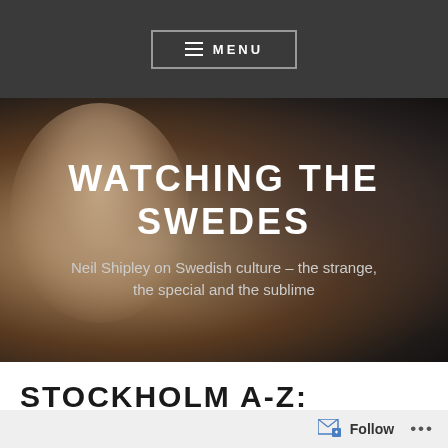MENU
[Figure (photo): Close-up photo of an older man with white beard and blue eyes against a blurred indoor background. The image serves as the hero background for the blog 'Watching the Swedes'.]
WATCHING THE SWEDES
Neil Shipley on Swedish culture – the strange, the special and the sublime
STOCKHOLM A-Z: YUMPIN' YIMMINY
Follow